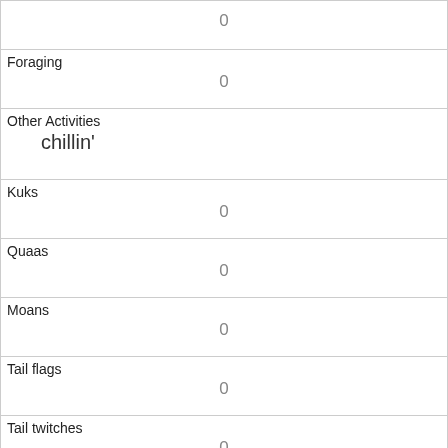| (no label) | 0 |
| Foraging | 0 |
| Other Activities | chillin' |
| Kuks | 0 |
| Quaas | 0 |
| Moans | 0 |
| Tail flags | 0 |
| Tail twitches | 0 |
| Approaches | 0 |
| Indifferent | 0 |
| Runs from |  |